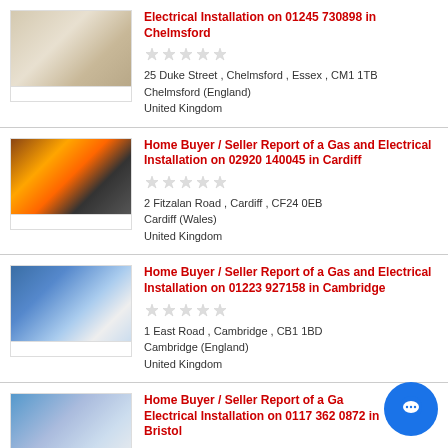Electrical Installation on 01245 730898 in Chelmsford
25 Duke Street , Chelmsford , Essex , CM1 1TB
Chelmsford (England)
United Kingdom
Home Buyer / Seller Report of a Gas and Electrical Installation on 02920 140045 in Cardiff
2 Fitzalan Road , Cardiff , CF24 0EB
Cardiff (Wales)
United Kingdom
Home Buyer / Seller Report of a Gas and Electrical Installation on 01223 927158 in Cambridge
1 East Road , Cambridge , CB1 1BD
Cambridge (England)
United Kingdom
Home Buyer / Seller Report of a Gas and Electrical Installation on 0117 362 0872 in Bristol